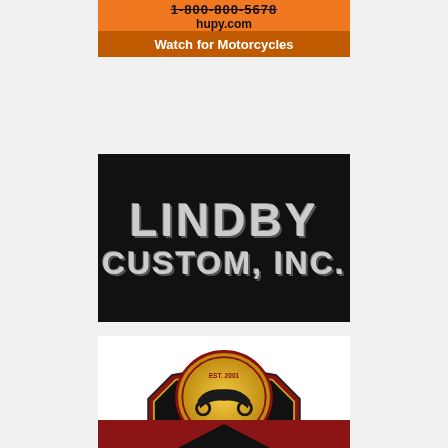[Figure (logo): Hupy.com orange advertisement banner with phone number and 'Watch for Motorcycles' tagline]
[Figure (logo): Lindby Custom, Inc. logo on black background with distressed silver text]
[Figure (logo): Sturgis Motorcycle Museum & Hall of Fame logo with circular badge, gold/black shield design, EST. 2001]
[Figure (logo): Partial bottom advertisement with dark red background, partially visible]